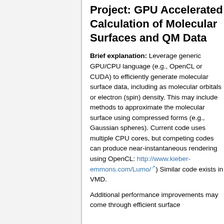Project: GPU Accelerated Calculation of Molecular Surfaces and QM Data
Brief explanation: Leverage generic GPU/CPU language (e.g., OpenCL or CUDA) to efficiently generate molecular surface data, including as molecular orbitals or electron (spin) density. This may include methods to approximate the molecular surface using compressed forms (e.g., Gaussian spheres). Current code uses multiple CPU cores, but competing codes can produce near-instantaneous rendering using OpenCL: http://www.kieber-emmons.com/Lumo/ ) Similar code exists in VMD.
Additional performance improvements may come through efficient surface